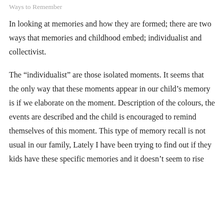Ways to Remember
In looking at memories and how they are formed; there are two ways that memories and childhood embed; individualist and collectivist.
The “individualist” are those isolated moments. It seems that the only way that these moments appear in our child’s memory is if we elaborate on the moment. Description of the colours, the events are described and the child is encouraged to remind themselves of this moment. This type of memory recall is not usual in our family, Lately I have been trying to find out if they kids have these specific memories and it doesn’t seem to rise